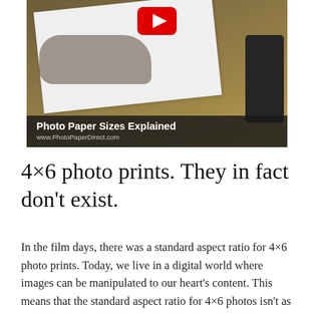[Figure (screenshot): YouTube video thumbnail showing a person's hand near white paper on a wooden desk, with a dark device in the background. A YouTube play button is visible at the top center. A dark caption bar at the bottom reads 'Photo Paper Sizes Explained' and 'www.PhotoPaperDirect.com'.]
4×6 photo prints. They in fact don't exist.
In the film days, there was a standard aspect ratio for 4×6 photo prints. Today, we live in a digital world where images can be manipulated to our heart's content. This means that the standard aspect ratio for 4×6 photos isn't as important as it used to be.